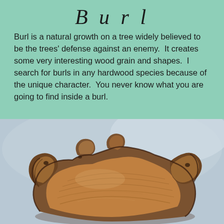Burl
Burl is a natural growth on a tree widely believed to be the trees' defense against an enemy.  It creates some very interesting wood grain and shapes.  I search for burls in any hardwood species because of the unique character.  You never know what you are going to find inside a burl.
[Figure (photo): A wooden burl bowl with irregular, organic edges and intricate wood grain patterns, photographed against a light gray/blue background. The bowl is a shallow dish shape carved from a burl, showing rich brown tones and natural imperfections.]